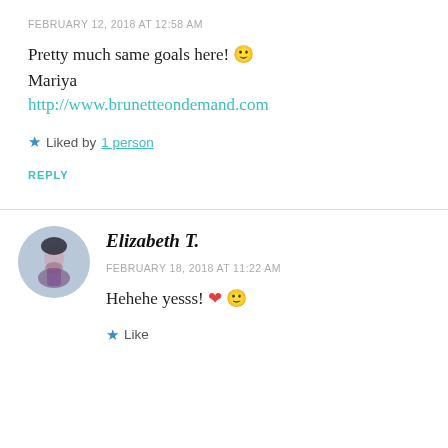FEBRUARY 12, 2018 AT 12:58 AM
Pretty much same goals here! 🙂
Mariya
http://www.brunetteondemand.com
★ Liked by 1 person
REPLY
Elizabeth T.
FEBRUARY 18, 2018 AT 11:22 AM
Hehehe yesss! ❤ 🙂
★ Like